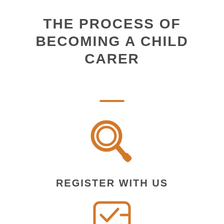THE PROCESS OF BECOMING A CHILD CARER
[Figure (illustration): Orange magnifying glass icon]
REGISTER WITH US
[Figure (illustration): Orange form/document with checkmark icon (partially visible at bottom)]